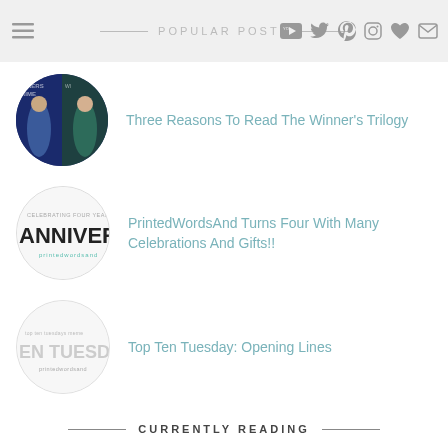POPULAR POSTS
Three Reasons To Read The Winner's Trilogy
PrintedWordsAnd Turns Four With Many Celebrations And Gifts!!
Top Ten Tuesday: Opening Lines
CURRENTLY READING